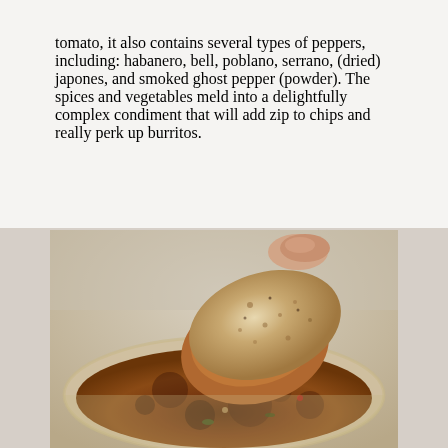tomato, it also contains several types of peppers, including: habanero, bell, poblano, serrano, (dried) japones, and smoked ghost pepper (powder). The spices and vegetables meld into a delightfully complex condiment that will add zip to chips and really perk up burritos.
[Figure (photo): A tortilla chip being dipped into a bowl of dark reddish-brown chunky salsa. The chip is held by a hand visible at the top. The salsa appears rich and complex with visible pepper and herb pieces.]